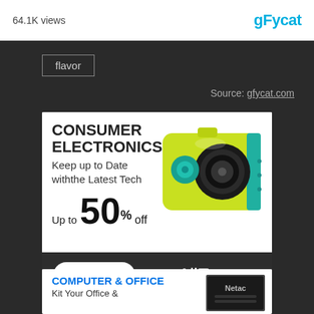64.1K views
[Figure (logo): gfycat logo in blue]
flavor
Source: gfycat.com
[Figure (infographic): AliExpress Consumer Electronics advertisement. CONSUMER ELECTRONICS - Keep up to Date withthe Latest Tech. Up to 50% off. Shows yellow/teal action camera. Shop Now button. AliExpress logo.]
[Figure (infographic): AliExpress Computer & Office advertisement. COMPUTER & OFFICE - Kit Your Office &. Shows Netac device image.]